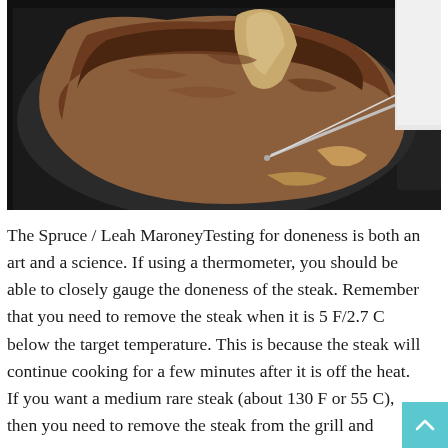[Figure (photo): A large T-bone or bone-in steak cooking in a cast iron skillet, with a metal thermometer probe inserted into the meat. The steak is browned and seared.]
The Spruce / Leah MaroneyTesting for doneness is both an art and a science. If using a thermometer, you should be able to closely gauge the doneness of the steak. Remember that you need to remove the steak when it is 5 F/2.7 C below the target temperature. This is because the steak will continue cooking for a few minutes after it is off the heat. If you want a medium rare steak (about 130 F or 55 C), then you need to remove the steak from the grill and